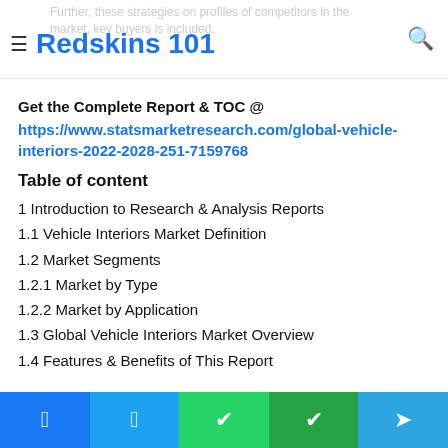Redskins 101
Get the Complete Report & TOC @ https://www.statsmarketresearch.com/global-vehicle-interiors-2022-2028-251-7159768
Table of content
1 Introduction to Research & Analysis Reports
1.1 Vehicle Interiors Market Definition
1.2 Market Segments
1.2.1 Market by Type
1.2.2 Market by Application
1.3 Global Vehicle Interiors Market Overview
1.4 Features & Benefits of This Report